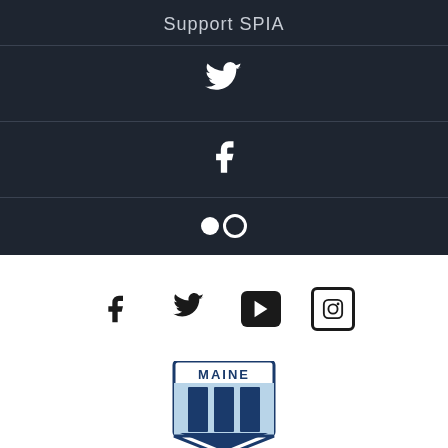Support SPIA
[Figure (logo): Twitter bird icon (white on dark background)]
[Figure (logo): Facebook 'f' icon (white on dark background)]
[Figure (logo): Flickr double-dot icon (white on dark background)]
[Figure (logo): Row of social media icons: Facebook, Twitter, YouTube, Instagram (dark on white background)]
[Figure (logo): University of Maine shield logo with MAINE wordmark]
Apply
Student Resources